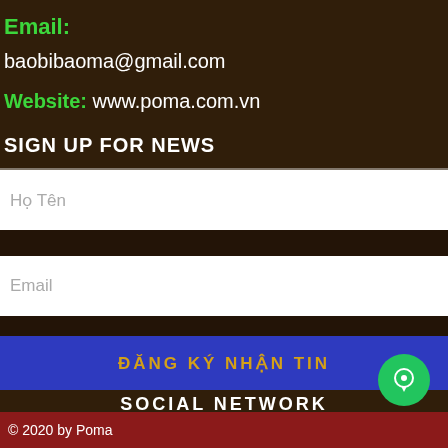Email: baobibaoma@gmail.com
Website: www.poma.com.vn
SIGN UP FOR NEWS
Họ Tên
Email
ĐĂNG KÝ NHẬN TIN
SOCIAL NETWORK
[Figure (illustration): Social network icons: Facebook, Instagram, Twitter, YouTube in circular outlines]
© 2020 by Poma